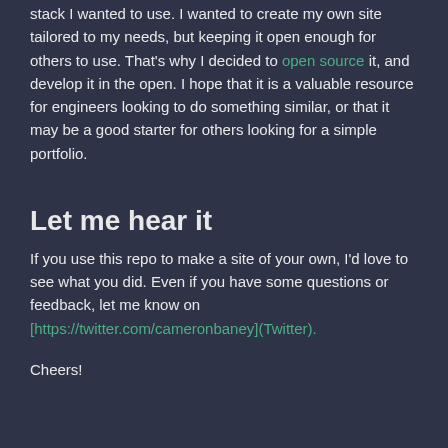stack I wanted to use. I wanted to create my own site tailored to my needs, but keeping it open enough for others to use. That's why I decided to open source it, and develop it in the open. I hope that it is a valuable resource for engineers looking to do something similar, or that it may be a good starter for others looking for a simple portfolio.
Let me hear it
If you use this repo to make a site of your own, I'd love to see what you did. Even if you have some questions or feedback, let me know on [https://twitter.com/cameronbaney](Twitter).
Cheers!